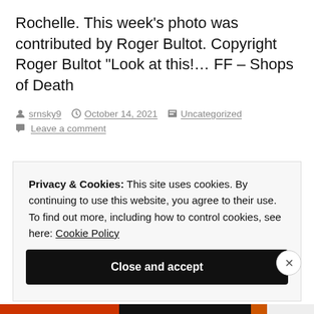Rochelle. This week's photo was contributed by Roger Bultot. Copyright Roger Bultot "Look at this!… FF – Shops of Death
srnsky9  October 14, 2021  Uncategorized
Leave a comment
Privacy & Cookies: This site uses cookies. By continuing to use this website, you agree to their use.
To find out more, including how to control cookies, see here: Cookie Policy

Close and accept